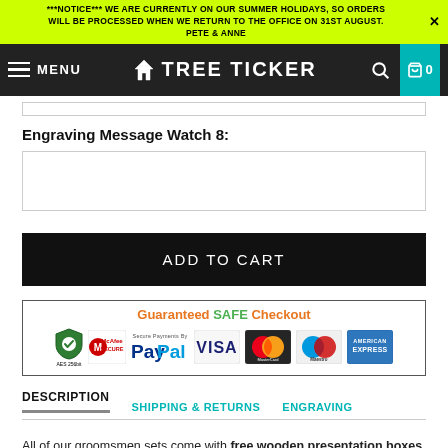***NOTICE*** WE ARE CURRENTLY ON OUR SUMMER HOLIDAYS, SO ORDERS WILL BE PROCESSED WHEN WE RETURN TO THE OFFICE ON 31ST AUGUST. PETE & ANNE
[Figure (screenshot): Tree Ticker website navigation bar with hamburger menu, Tree Ticker logo, search icon, and cart icon showing 0 items]
Engraving Message Watch 8:
[Figure (screenshot): Empty text input box for Engraving Message Watch 8]
[Figure (screenshot): ADD TO CART button, black background with white text]
[Figure (screenshot): Guaranteed SAFE Checkout section with McAfee Secure, PayPal, Visa, Mastercard, Maestro, and American Express payment icons]
DESCRIPTION | SHIPPING & RETURNS | ENGRAVING
All of our groomsmen sets come with free wooden presentation boxes as standard and we offer a further 10% off the watch price.